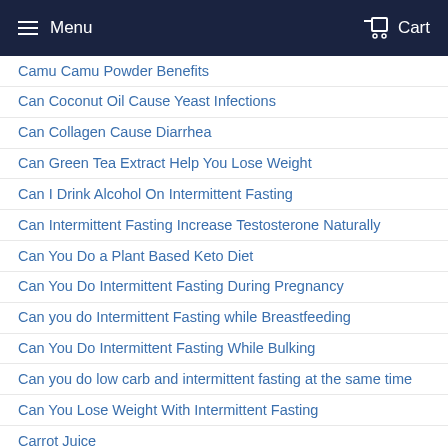Menu  Cart
Camu Camu Powder Benefits
Can Coconut Oil Cause Yeast Infections
Can Collagen Cause Diarrhea
Can Green Tea Extract Help You Lose Weight
Can I Drink Alcohol On Intermittent Fasting
Can Intermittent Fasting Increase Testosterone Naturally
Can You Do a Plant Based Keto Diet
Can You Do Intermittent Fasting During Pregnancy
Can you do Intermittent Fasting while Breastfeeding
Can You Do Intermittent Fasting While Bulking
Can you do low carb and intermittent fasting at the same time
Can You Lose Weight With Intermittent Fasting
Carrot Juice
Carrot Juice Benefits
Cellulase Health Benefits
Cherry Juice